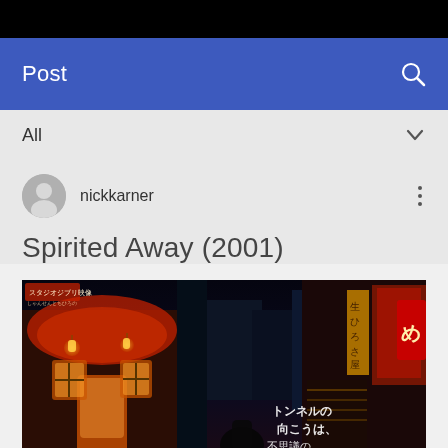Post
All
nickkarner
Spirited Away (2001)
[Figure (screenshot): Screenshot from the animated film Spirited Away (2001) showing a night scene of a Japanese spirit town with red-lit buildings, lanterns, traditional shop signs with Japanese characters, and text overlay in Japanese reading トンネルの向こうは、不思議の町だった]